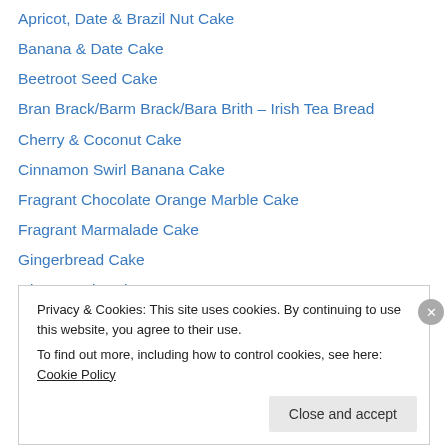Apricot, Date & Brazil Nut Cake
Banana & Date Cake
Beetroot Seed Cake
Bran Brack/Barm Brack/Bara Brith – Irish Tea Bread
Cherry & Coconut Cake
Cinnamon Swirl Banana Cake
Fragrant Chocolate Orange Marble Cake
Fragrant Marmalade Cake
Gingerbread Cake
Ginger Fruit Cake
Mocha Fruit & Nut Cake
Rich Coconut Dessert Cake
Spiced Apple & Cider Cake
Privacy & Cookies: This site uses cookies. By continuing to use this website, you agree to their use. To find out more, including how to control cookies, see here: Cookie Policy
Close and accept